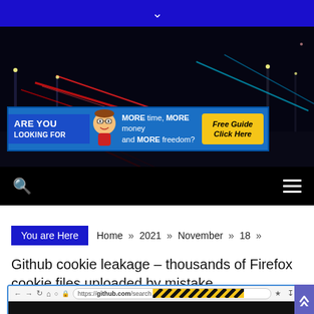Navigation chevron / collapse button
[Figure (photo): Dark cityscape hero image with red and blue light streaks (long exposure), with an advertisement banner overlay reading 'ARE YOU LOOKING FOR MORE time, MORE money and MORE freedom? Free Guide Click Here']
[Figure (screenshot): Website navigation bar with black background, search icon on left, hamburger menu on right]
You are Here   Home »  2021 »  November »  18 »
Github cookie leakage – thousands of Firefox cookie files uploaded by mistake
[Figure (screenshot): Browser address bar showing https://github.com/search with hazard stripe overlay partially obscuring the URL, with navigation icons]